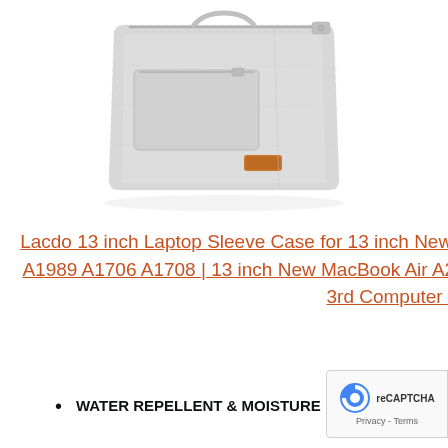[Figure (photo): Gray laptop sleeve bag with zipper and small brown leather logo patch, shown at an angle against white background]
Lacdo 13 inch Laptop Sleeve Case for 13 inch New MacBook Pro A2338 M1 A2251 A2289 A2159 A1989 A1706 A1708 | 13 inch New MacBook Air A2337 M1 A2179 A1932 | 12.9" iPad Pro 5th 4th 3rd Computer Bag, Gray
WATER REPELLENT & MOISTURE PROOFING – Made of waterproof Canvas fabric which obstructs water and vapor